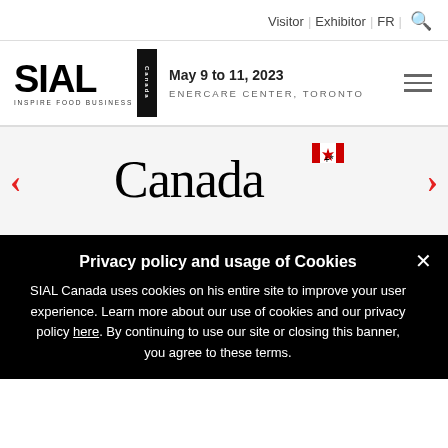Visitor | Exhibitor | FR | [search]
[Figure (logo): SIAL Canada logo with 'INSPIRE FOOD BUSINESS' tagline and Canada stripe]
May 9 to 11, 2023
ENERCARE CENTER, TORONTO
[Figure (logo): Canada government wordmark with maple leaf flag]
Privacy policy and usage of Cookies
SIAL Canada uses cookies on his entire site to improve your user experience. Learn more about our use of cookies and our privacy policy here. By continuing to use our site or closing this banner, you agree to these terms.